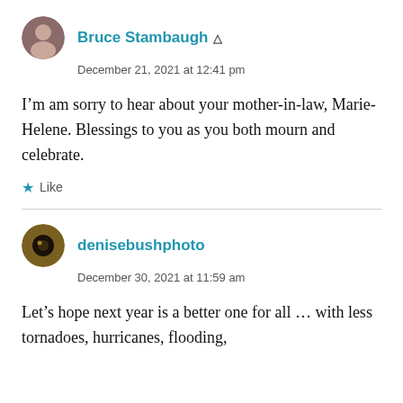Bruce Stambaugh
December 21, 2021 at 12:41 pm
I'm am sorry to hear about your mother-in-law, Marie-Helene. Blessings to you as you both mourn and celebrate.
Like
denisebushphoto
December 30, 2021 at 11:59 am
Let's hope next year is a better one for all … with less tornadoes, hurricanes, flooding,